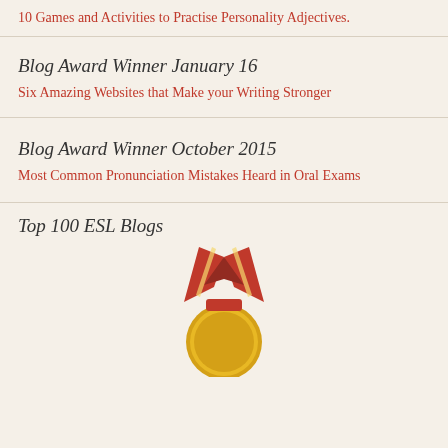10 Games and Activities to Practise Personality Adjectives.
Blog Award Winner January 16
Six Amazing Websites that Make your Writing Stronger
Blog Award Winner October 2015
Most Common Pronunciation Mistakes Heard in Oral Exams
Top 100 ESL Blogs
[Figure (illustration): Medal/award badge with red ribbon and gold circular award badge for Top 100 ESL Blogs]